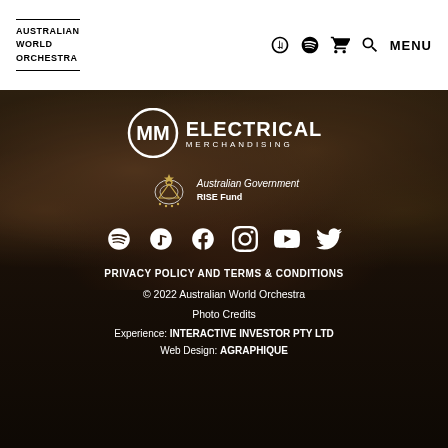AUSTRALIAN WORLD ORCHESTRA
[Figure (logo): MM Electrical Merchandising sponsor logo with circular MM emblem]
[Figure (logo): Australian Government RISE Fund logo with coat of arms]
[Figure (infographic): Social media icons row: Spotify, Apple Music, Facebook, Instagram, YouTube, Twitter]
PRIVACY POLICY AND TERMS & CONDITIONS
© 2022 Australian World Orchestra
Photo Credits
Experience: INTERACTIVE INVESTOR PTY LTD
Web Design: AGRAPHIQUE
© 2022 Australian World Orchestra